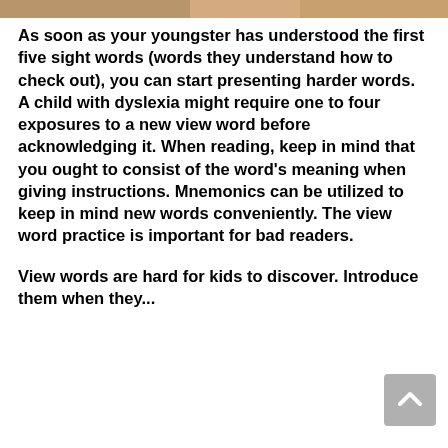[Figure (photo): Partial image visible at top of page, appears to be a photo with warm/orange-brown tones]
As soon as your youngster has understood the first five sight words (words they understand how to check out), you can start presenting harder words. A child with dyslexia might require one to four exposures to a new view word before acknowledging it. When reading, keep in mind that you ought to consist of the word's meaning when giving instructions. Mnemonics can be utilized to keep in mind new words conveniently. The view word practice is important for bad readers.
View words are hard for kids to discover. Introduce them when they...